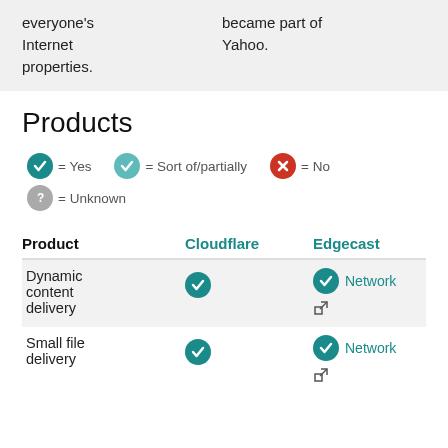everyone's Internet properties.
became part of Yahoo.
Products
✓ = Yes   ✓ = Sort of/partially   ✗ = No   ? = Unknown
| Product | Cloudflare | Edgecast |
| --- | --- | --- |
| Dynamic content delivery | ✓ | ✓ Network [external link] |
| Small file delivery | ✓ | ✓ Network [external link] |